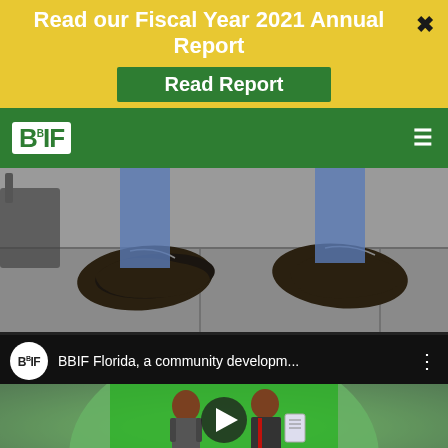Read our Fiscal Year 2021 Annual Report
Read Report
[Figure (screenshot): BBIF logo on green navigation bar with hamburger menu icon]
[Figure (photo): Close-up photo of two pairs of shoes/feet on pavement/sidewalk tiles]
[Figure (screenshot): YouTube video thumbnail showing BBIF Florida community development video with animated characters - a man and woman in business attire with play button overlay. Video title: BBIF Florida, a community developm...]